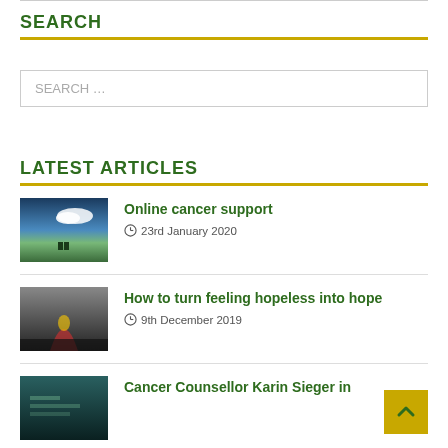SEARCH
SEARCH ...
LATEST ARTICLES
Online cancer support — 23rd January 2020
How to turn feeling hopeless into hope — 9th December 2019
Cancer Counsellor Karin Sieger in